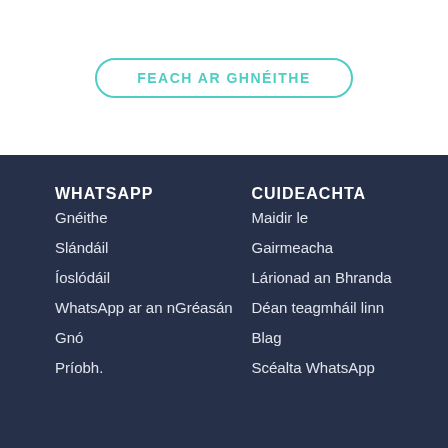FEACH AR GHNÉITHE
WHATSAPP
Gnéithe
Slándáil
Íoslódáil
WhatsApp ar an nGréasán
Gnó
Príobh.
CUIDEACHTA
Maidir le
Gairmeacha
Lárionad an Bhranda
Déan teagmháil linn
Blag
Scéalta WhatsApp